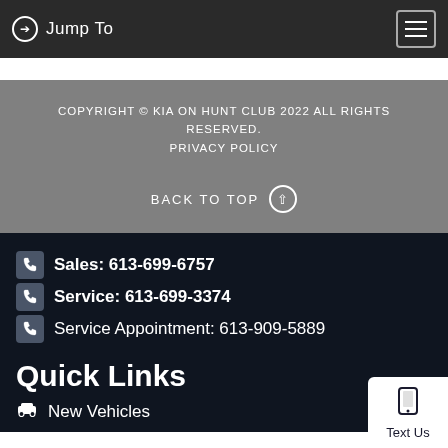Jump To
COPYRIGHT © KIA ON HUNT CLUB 2022 ALL RIGHTS RESERVED.
PRIVACY POLICY
BACK TO TOP
Sales: 613-699-6757
Service: 613-699-3374
Service Appointment: 613-909-5889
Quick Links
New Vehicles